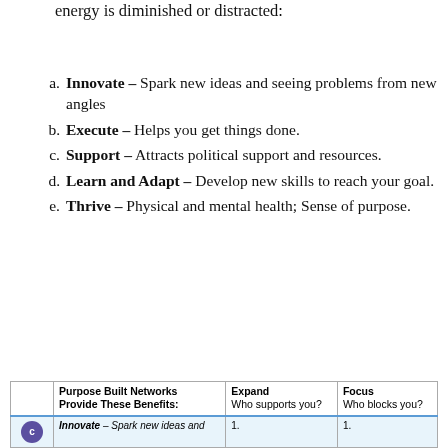energy is diminished or distracted:
Innovate – Spark new ideas and seeing problems from new angles
Execute – Helps you get things done.
Support – Attracts political support and resources.
Learn and Adapt – Develop new skills to reach your goal.
Thrive – Physical and mental health; Sense of purpose.
|  | Purpose Built Networks Provide These Benefits: | Expand Who supports you? | Focus Who blocks you? |
| --- | --- | --- | --- |
| [icon] | Innovate – Spark new ideas and | 1. | 1. |